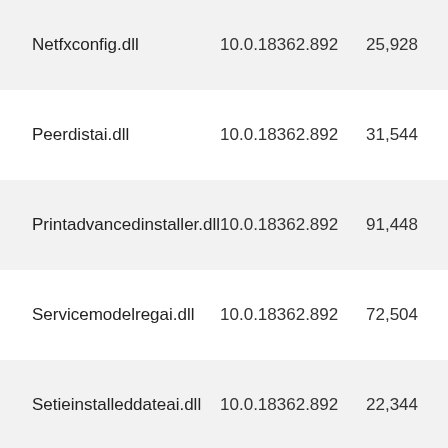| File | Version | Size |
| --- | --- | --- |
| Netfxconfig.dll | 10.0.18362.892 | 25,928 |
| Peerdistai.dll | 10.0.18362.892 | 31,544 |
| Printadvancedinstaller.dll | 10.0.18362.892 | 91,448 |
| Servicemodelregai.dll | 10.0.18362.892 | 72,504 |
| Setieinstalleddateai.dll | 10.0.18362.892 | 22,344 |